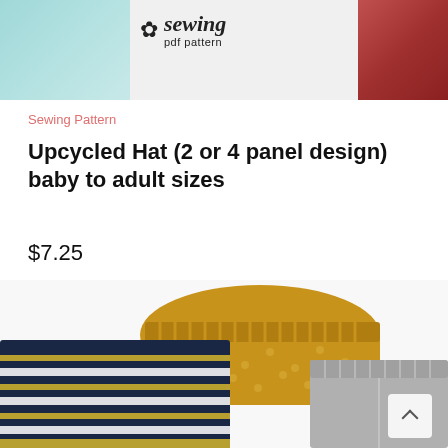[Figure (photo): Top banner showing sewing PDF pattern branding with teal fabric on left, sewing flower logo with 'sewing pdf pattern' text in center, and red/striped fabric on right]
Sewing Pattern
Upcycled Hat (2 or 4 panel design) baby to adult sizes
$7.25
[Figure (photo): Photo of three pairs of children's leggings/shorts: mustard yellow with polka dots at top center, navy blue with gold and white stripes on left, and grey on right. White background.]